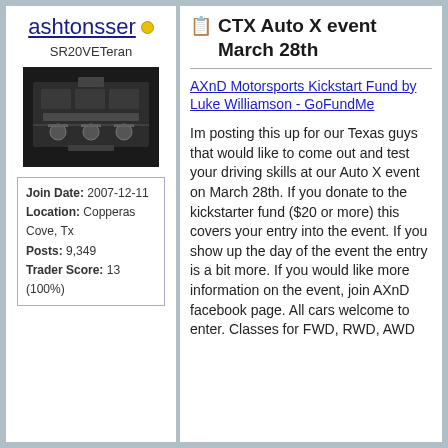ashtonsser
SR20VETeran
[Figure (photo): Car engine bay photo, dark background showing engine components]
| Join Date: | 2007-12-11 |
| Location: | Copperas Cove, Tx |
| Posts: | 9,349 |
| Trader Score: | 13 (100%) |
CTX Auto X event March 28th
AXnD Motorsports Kickstart Fund by Luke Williamson - GoFundMe
Im posting this up for our Texas guys that would like to come out and test your driving skills at our Auto X event on March 28th. If you donate to the kickstarter fund ($20 or more) this covers your entry into the event. If you show up the day of the event the entry is a bit more. If you would like more information on the event, join AXnD facebook page. All cars welcome to enter. Classes for FWD, RWD, AWD